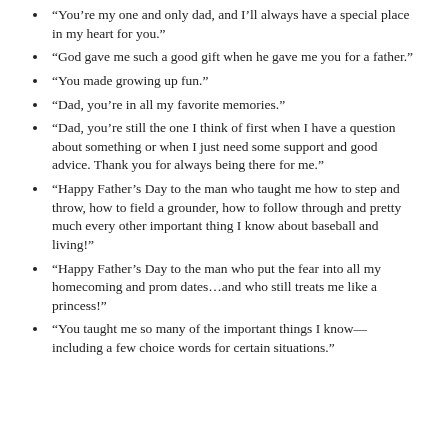“You’re my one and only dad, and I’ll always have a special place in my heart for you.”
“God gave me such a good gift when he gave me you for a father.”
“You made growing up fun.”
“Dad, you’re in all my favorite memories.”
“Dad, you’re still the one I think of first when I have a question about something or when I just need some support and good advice. Thank you for always being there for me.”
“Happy Father’s Day to the man who taught me how to step and throw, how to field a grounder, how to follow through and pretty much every other important thing I know about baseball and living!”
“Happy Father’s Day to the man who put the fear into all my homecoming and prom dates…and who still treats me like a princess!”
“You taught me so many of the important things I know—including a few choice words for certain situations.”